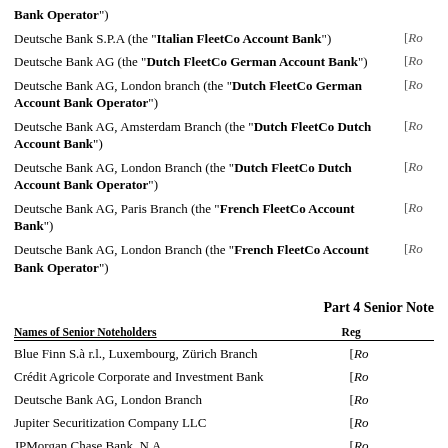Bank Operator")
Deutsche Bank S.P.A (the "Italian FleetCo Account Bank")
Deutsche Bank AG (the "Dutch FleetCo German Account Bank")
Deutsche Bank AG, London branch (the "Dutch FleetCo German Account Bank Operator")
Deutsche Bank AG, Amsterdam Branch (the "Dutch FleetCo Dutch Account Bank")
Deutsche Bank AG, London Branch (the "Dutch FleetCo Dutch Account Bank Operator")
Deutsche Bank AG, Paris Branch (the "French FleetCo Account Bank")
Deutsche Bank AG, London Branch (the "French FleetCo Account Bank Operator")
Part 4 Senior Note
| Names of Senior Noteholders | Reg |
| --- | --- |
| Blue Finn S.à r.l., Luxembourg, Zürich Branch | [Ro |
| Crédit Agricole Corporate and Investment Bank | [Ro |
| Deutsche Bank AG, London Branch | [Ro |
| Jupiter Securitization Company LLC | [Ro |
| JPMorgan Chase Bank, N.A. | [Ro |